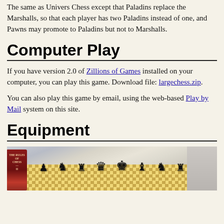The same as Univers Chess except that Paladins replace the Marshalls, so that each player has two Paladins instead of one, and Pawns may promote to Paladins but not to Marshalls.
Computer Play
If you have version 2.0 of Zillions of Games installed on your computer, you can play this game. Download file: largechess.zip.
You can also play this game by email, using the web-based Play by Mail system on this site.
Equipment
[Figure (photo): A chess board with black chess pieces arranged in starting positions, viewed from slightly above. A red book is visible on the left side.]